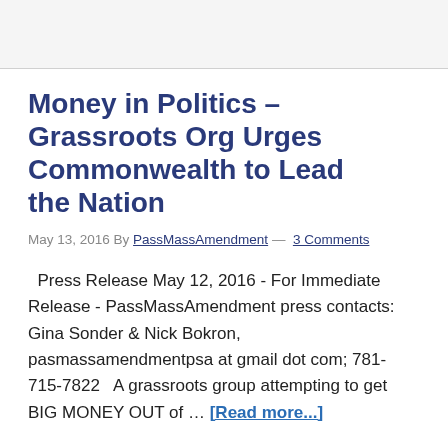Money in Politics – Grassroots Org Urges Commonwealth to Lead the Nation
May 13, 2016 By PassMassAmendment — 3 Comments
Press Release May 12, 2016 - For Immediate Release - PassMassAmendment press contacts: Gina Sonder & Nick Bokron, pasmassamendmentpsa at gmail dot com; 781-715-7822   A grassroots group attempting to get BIG MONEY OUT of … [Read more...]